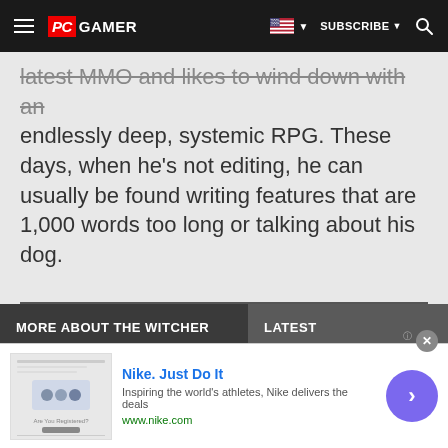PC GAMER | SUBSCRIBE
latest MMO and likes to wind down with an endlessly deep, systemic RPG. These days, when he's not editing, he can usually be found writing features that are 1,000 words too long or talking about his dog.
MORE ABOUT THE WITCHER
LATEST
[Figure (photo): Photo of a person with long gray/white hair against a cloudy sky background]
[Figure (photo): Photo of a handheld gaming device (Nintendo Switch or similar) held in hands outdoors]
Nike. Just Do It
Inspiring the world's athletes, Nike delivers the deals
www.nike.com